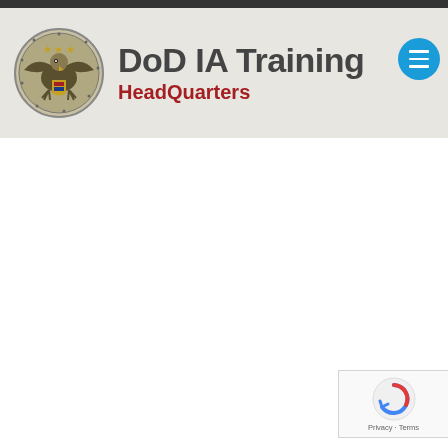[Figure (logo): DoD IA Training HeadQuarters logo with eagle seal medallion, text 'DoD IA Training' in dark gray bold and 'HeadQuarters' in red bold, with a blue circular menu button on the right]
[Figure (other): reCAPTCHA widget with spinning arrow icon and 'Privacy - Terms' text at the bottom right of the page]